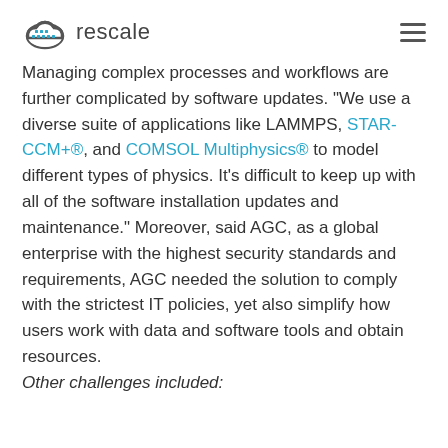rescale
Managing complex processes and workflows are further complicated by software updates. “We use a diverse suite of applications like LAMMPS, STAR-CCM+®, and COMSOL Multiphysics® to model different types of physics. It’s difficult to keep up with all of the software installation updates and maintenance.” Moreover, said AGC, as a global enterprise with the highest security standards and requirements, AGC needed the solution to comply with the strictest IT policies, yet also simplify how users work with data and software tools and obtain resources.
Other challenges included: